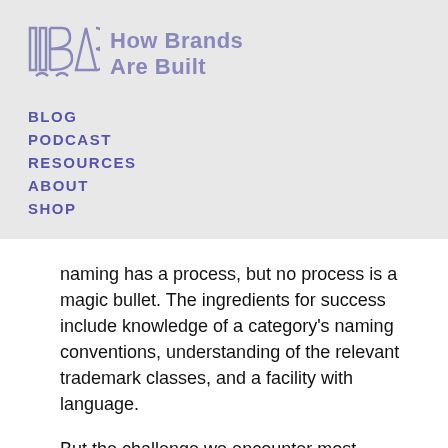[Figure (logo): How Brands Are Built logo with geometric icon and text]
BLOG
PODCAST
RESOURCES
ABOUT
SHOP
naming has a process, but no process is a magic bullet. The ingredients for success include knowledge of a category's naming conventions, understanding of the relevant trademark classes, and a facility with language.
But the challenge we encounter most frequently is the psychology of team...